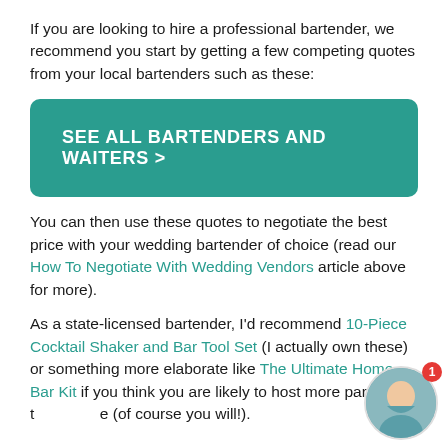If you are looking to hire a professional bartender, we recommend you start by getting a few competing quotes from your local bartenders such as these:
[Figure (other): Teal call-to-action button with text SEE ALL BARTENDERS AND WAITERS >]
You can then use these quotes to negotiate the best price with your wedding bartender of choice (read our How To Negotiate With Wedding Vendors article above for more).
As a state-licensed bartender, I'd recommend 10-Piece Cocktail Shaker and Bar Tool Set (I actually own these) or something more elaborate like The Ultimate Home Bar Kit if you think you are likely to host more parties in the future (of course you will!).